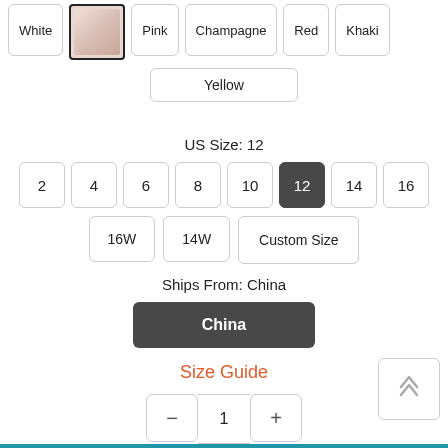[Figure (screenshot): Product color selection row with buttons: White (unselected), selected dress thumbnail image, Pink, Champagne, Red, Khaki]
Yellow
US Size: 12
2  4  6  8  10  12 (selected)  14  16
16W  14W  Custom Size
Ships From: China
China
Size Guide
−  1  +